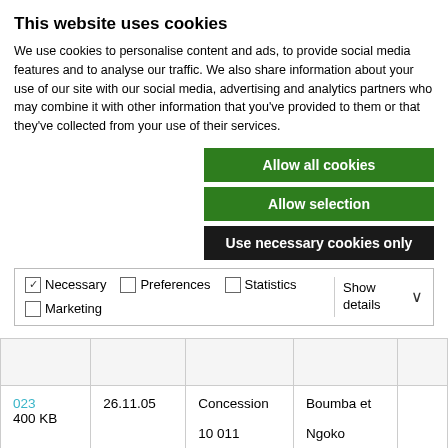This website uses cookies
We use cookies to personalise content and ads, to provide social media features and to analyse our traffic. We also share information about your use of our site with our social media, advertising and analytics partners who may combine it with other information that you've provided to them or that they've collected from your use of their services.
Allow all cookies
Allow selection
Use necessary cookies only
| Necessary | Preferences | Statistics | Marketing | Show details |
| --- | --- | --- | --- | --- |
| ✓ Necessary | Preferences | Statistics | Marketing | Show details ∨ |
|  |  |  |  |  |
| 023
400 KB | 26.11.05 | Concession
10 011 | Boumba et
Ngoko |  |
| 022 | 25.11.05 | Concession | Boumba et |  |